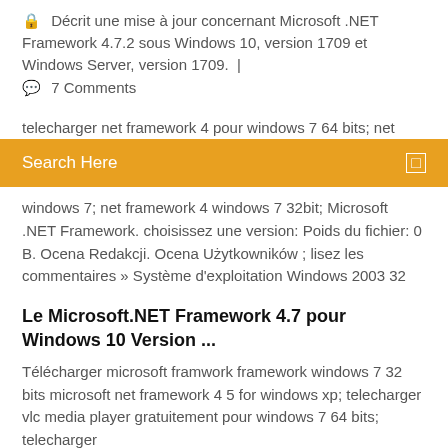🔒 Décrit une mise à jour concernant Microsoft .NET Framework 4.7.2 sous Windows 10, version 1709 et Windows Server, version 1709.  |
💬 7 Comments
telecharger net framework 4 pour windows 7 64 bits; net
Search Here
windows 7; net framework 4 windows 7 32bit; Microsoft .NET Framework. choisissez une version: Poids du fichier: 0 B. Ocena Redakcji. Ocena Użytkowników ; lisez les commentaires » Système d'exploitation Windows 2003 32
Le Microsoft.NET Framework 4.7 pour Windows 10 Version ...
Télécharger microsoft framwork framework windows 7 32 bits microsoft net framework 4 5 for windows xp; telecharger vlc media player gratuitement pour windows 7 64 bits; telecharger